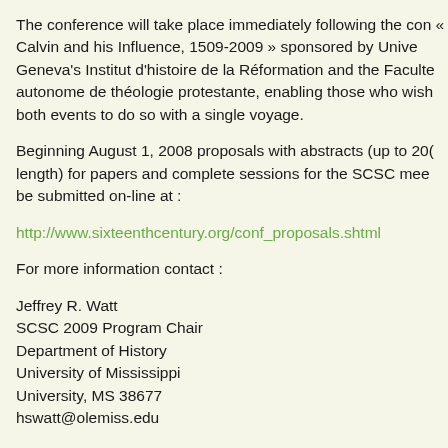The conference will take place immediately following the con « Calvin and his Influence, 1509-2009 » sponsored by Unive Geneva's Institut d'histoire de la Réformation and the Faculte autonome de théologie protestante, enabling those who wish both events to do so with a single voyage.
Beginning August 1, 2008 proposals with abstracts (up to 200 length) for papers and complete sessions for the SCSC mee be submitted on-line at :
http://www.sixteenthcentury.org/conf_proposals.shtml
For more information contact :
Jeffrey R. Watt
SCSC 2009 Program Chair
Department of History
University of Mississippi
University, MS 38677
hswatt@olemiss.edu
[2]
The Society for Reformation Research (SRR ; see our websi www.reformationresearch.org ) is now accepting proposals f